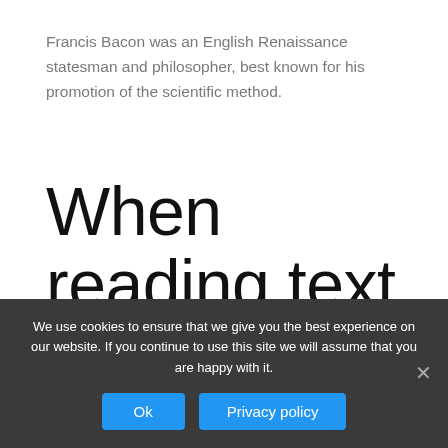Francis Bacon was an English Renaissance statesman and philosopher, best known for his promotion of the scientific method.
When reading text and answering associated questions in which
We use cookies to ensure that we give you the best experience on our website. If you continue to use this site we will assume that you are happy with it.